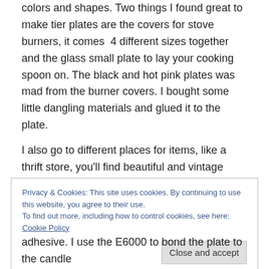colors and shapes. Two things I found great to make tier plates are the covers for stove burners, it comes  4 different sizes together and the glass small plate to lay your cooking spoon on. The black and hot pink plates was mad from the burner covers. I bought some little dangling materials and glued it to the plate.
I also go to different places for items, like a thrift store, you'll find beautiful and vintage pieces or department stores.
Privacy & Cookies: This site uses cookies. By continuing to use this website, you agree to their use.
To find out more, including how to control cookies, see here: Cookie Policy
[Close and accept]
adhesive. I use the E6000 to bond the plate to the candle